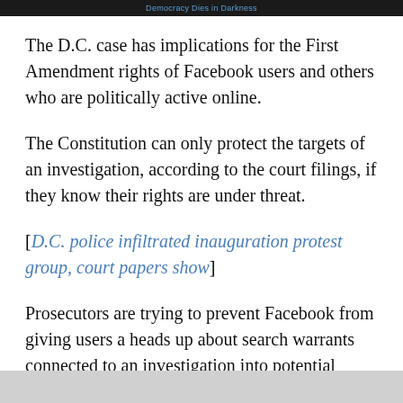Democracy Dies in Darkness
The D.C. case has implications for the First Amendment rights of Facebook users and others who are politically active online.
The Constitution can only protect the targets of an investigation, according to the court filings, if they know their rights are under threat.
[D.C. police infiltrated inauguration protest group, court papers show]
Prosecutors are trying to prevent Facebook from giving users a heads up about search warrants connected to an investigation into potential felony charges. Prosecutors typically ask judges for nondisclosure orders when they